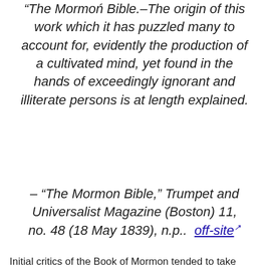“The Mormon Bible.–The origin of this work which it has puzzled many to account for, evidently the production of a cultivated mind, yet found in the hands of exceedingly ignorant and illiterate persons is at length explained.
– “The Mormon Bible,” Trumpet and Universalist Magazine (Boston) 11, no. 48 (18 May 1839), n.p..  off-site
Initial critics of the Book of Mormon tended to take